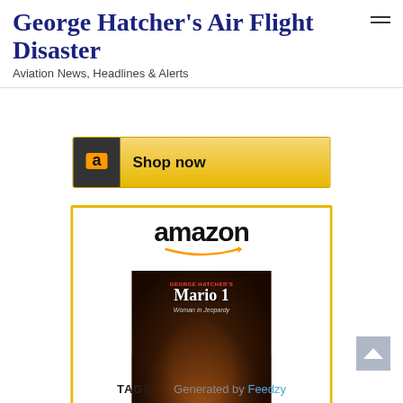George Hatcher's Air Flight Disaster
Aviation News, Headlines & Alerts
[Figure (screenshot): Amazon 'Shop now' banner button with gold background and dark Amazon 'a' logo icon]
[Figure (screenshot): Amazon product widget showing book 'Mario 1: Woman in Jeopardy...' priced at $7.99 with Shop now button]
Mario 1: Woman in Jeopardy...
$7.99
TAGS
Generated by Feedzy